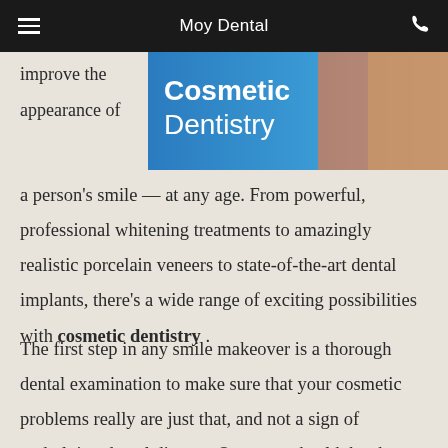Moy Dental
[Figure (photo): Cosmetic Dentistry banner image with text 'Cosmetic Dentistry' overlaid on a blue background, with a woman in an orange top on the right side]
improve the appearance of a person's smile — at any age. From powerful, professional whitening treatments to amazingly realistic porcelain veneers to state-of-the-art dental implants, there's a wide range of exciting possibilities with cosmetic dentistry .
The first step in any smile makeover is a thorough dental examination to make sure that your cosmetic problems really are just that, and not a sign of underlying dental disease. Once your health has been established, your smile can be cosmetically enhanced in a variety of ways.